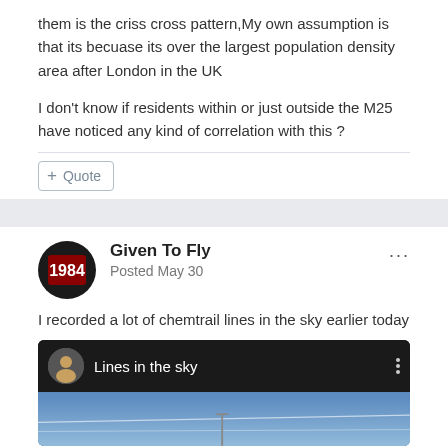them is the criss cross pattern,My own assumption is that its becuase its over the largest population density area after London in the UK
I don't know if residents within or just outside the M25 have noticed any kind of correlation with this ?
Given To Fly
Posted May 30
I recorded a lot of chemtrail lines in the sky earlier today
[Figure (screenshot): Video embed thumbnail showing 'Lines in the sky' with a channel avatar, title text, three-dot menu, and a sky background preview with an antenna silhouette]